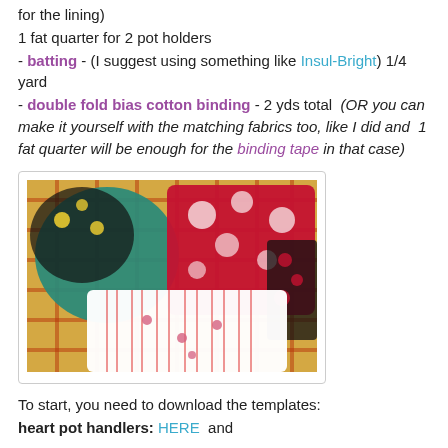for the lining)
1 fat quarter for 2 pot holders
- batting - (I suggest using something like Insul-Bright) 1/4 yard
- double fold bias cotton binding - 2 yds total  (OR you can make it yourself with the matching fabrics too, like I did and  1 fat quarter will be enough for the binding tape in that case)
[Figure (photo): Photo of colorful fabric pot holders and folded fabric pieces arranged on a plaid background. Fabrics include floral patterns in red/black/teal and a white with red stripes pattern.]
To start, you need to download the templates:
heart pot handlers: HERE  and